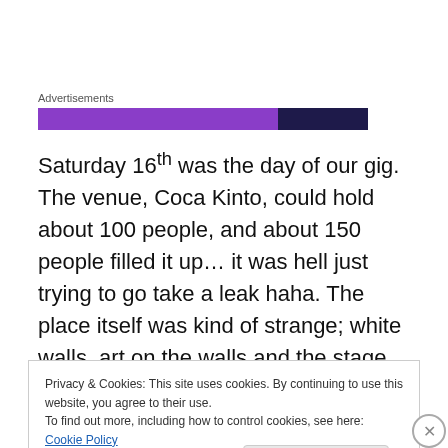[Figure (other): Advertisements bar — two-segment horizontal bar in purple and dark navy, labeled 'Advertisements']
Saturday 16th was the day of our gig. The venue, Coca Kinto, could hold about 100 people, and about 150 people filled it up… it was hell just trying to go take a leak haha. The place itself was kind of strange; white walls, art on the walls and the stage was directly on the floor. A weird place for a metal show, but the sound was really good! They also
Privacy & Cookies: This site uses cookies. By continuing to use this website, you agree to their use.
To find out more, including how to control cookies, see here: Cookie Policy
Close and accept